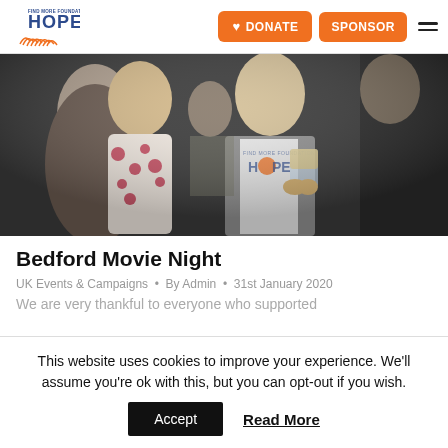HOPE Foundation — DONATE | SPONSOR
[Figure (photo): People socializing at an event, one wearing a HOPE Foundation t-shirt and holding a drink glass]
Bedford Movie Night
UK Events & Campaigns • By Admin • 31st January 2020
We are very thankful to everyone who supported
This website uses cookies to improve your experience. We'll assume you're ok with this, but you can opt-out if you wish.